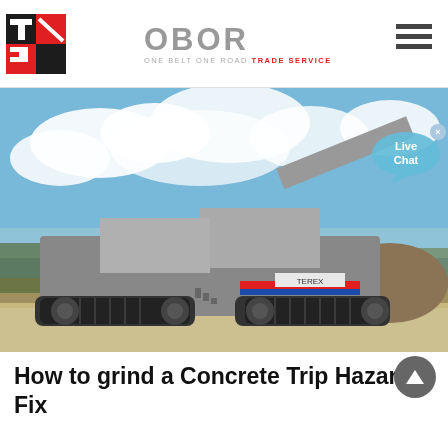OBOR — ONE BELT ONE ROAD TRADE SERVICE
[Figure (photo): A large mobile jaw crusher / screening machine on tracks, parked on a road with blue sky and clouds in the background. The machine is grey, red, and white with a conveyor belt arm extended.]
How to grind a Concrete Trip Hazard, Fix